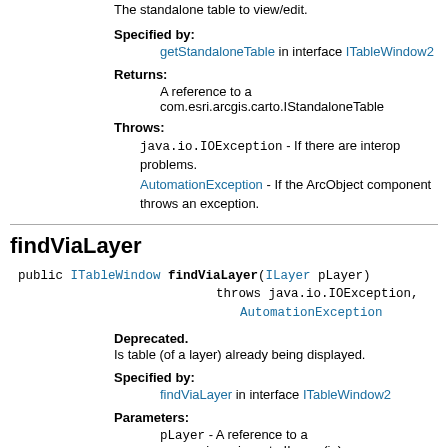The standalone table to view/edit.
Specified by:
getStandaloneTable in interface ITableWindow2
Returns:
A reference to a com.esri.arcgis.carto.IStandaloneTable
Throws:
java.io.IOException - If there are interop problems.
AutomationException - If the ArcObject component throws an exception.
findViaLayer
public ITableWindow findViaLayer(ILayer pLayer) throws java.io.IOException, AutomationException
Deprecated.
Is table (of a layer) already being displayed.
Specified by:
findViaLayer in interface ITableWindow2
Parameters:
pLayer - A reference to a com.esri.arcgis.carto.ILayer (in)
Returns:
A reference to a com.esri.arcgis.arcmapui.ITableWindow
Throws:
java.io.IOException - If there are interop problems.